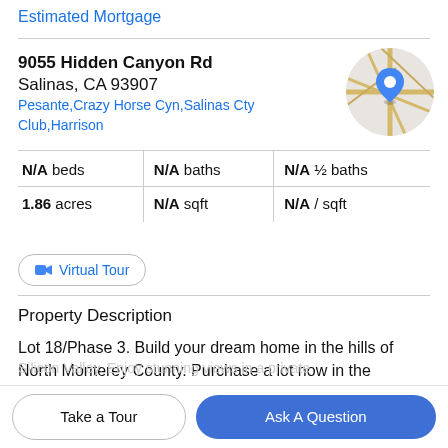Estimated Mortgage
9055 Hidden Canyon Rd
Salinas, CA 93907
Pesante,Crazy Horse Cyn,Salinas Cty Club,Harrison
[Figure (map): Circular map thumbnail with blue location pin marker over street map background]
| N/A beds | N/A baths | N/A ½ baths |
| 1.86 acres | N/A sqft | N/A / sqft |
Virtual Tour
Property Description
Lot 18/Phase 3. Build your dream home in the hills of North Monterey County. Purchase a lot now in the
Silicon Valley. Enjoy stunning views in a private
Take a Tour
Ask A Question